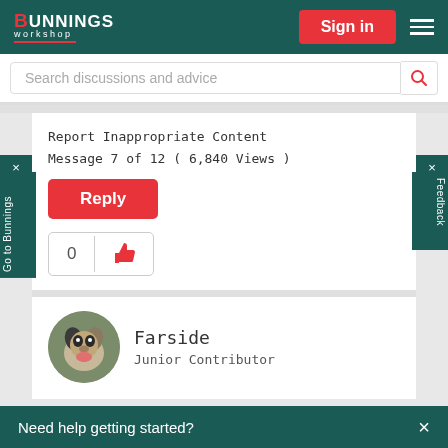[Figure (screenshot): Bunnings Workshop website header with logo, Sign in button, and hamburger menu on teal background]
Search discussions and advice
Report Inappropriate Content
Message 7 of 12 ( 6,840 Views )
Reply
0
[Figure (photo): Circular avatar photo of a dog (blue heeler/cattle dog) with tongue out]
Farside
Junior Contributor
Need help getting started?